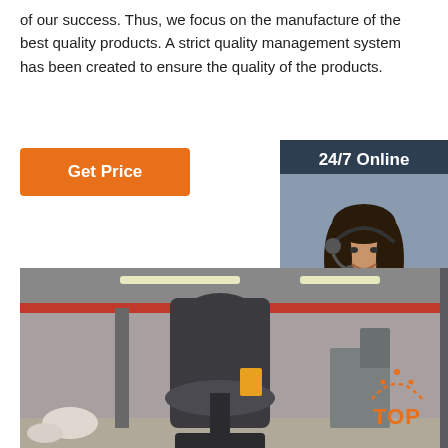of our success. Thus, we focus on the manufacture of the best quality products. A strict quality management system has been created to ensure the quality of the products.
Get Price
24/7 Online
[Figure (photo): Customer service representative with headset smiling]
Click here for free chat !
QUOTATION
[Figure (photo): Industrial machine (hammer/press) inside a factory/workshop with red crane in background]
[Figure (other): TOP button with dotted arc icon in orange]